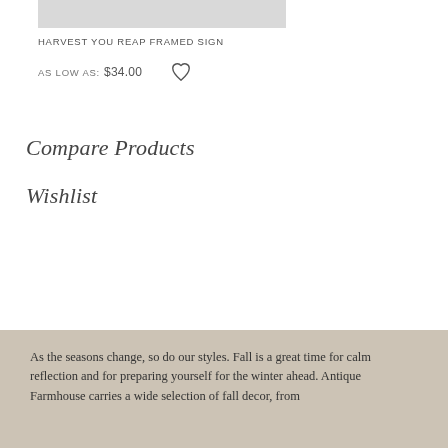[Figure (photo): Product image placeholder (gray rectangle) for Harvest You Reap Framed Sign]
HARVEST YOU REAP FRAMED SIGN
AS LOW AS: $34.00
Compare Products
Wishlist
As the seasons change, so do our styles. Fall is a great time for calm reflection and for preparing yourself for the winter ahead. Antique Farmhouse carries a wide selection of fall decor, from